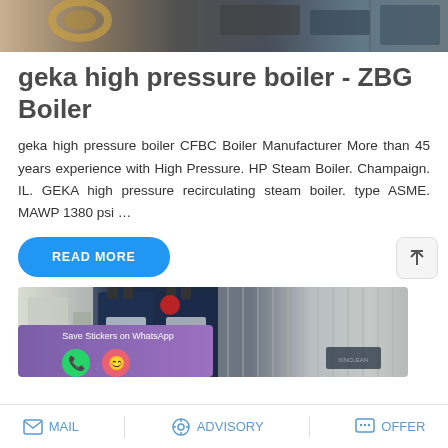[Figure (photo): Top portion of industrial boiler equipment photo, partial view cropped at top of page]
geka high pressure boiler - ZBG Boiler
geka high pressure boiler CFBC Boiler Manufacturer More than 45 years experience with High Pressure. HP Steam Boiler. Champaign. IL. GEKA high pressure recirculating steam boiler. type ASME. MAWP 1380 psi …
READ MORE
[Figure (photo): Industrial boiler units in a facility, dark blue cylindrical tanks with silver panels, with WhatsApp sticker save overlay showing phone and emoji icons]
MAIL   ADVISORY   OFFER